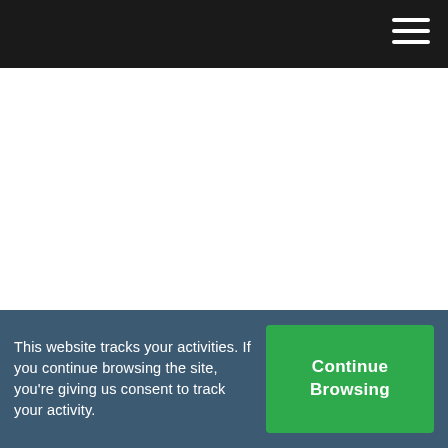Let's start with the 2018 Texas Heritage Vineyard Barbera. Barbera originated in the...
This website tracks your activities. If you continue browsing the site, you're giving us consent to track your activity.
Continue Browsing